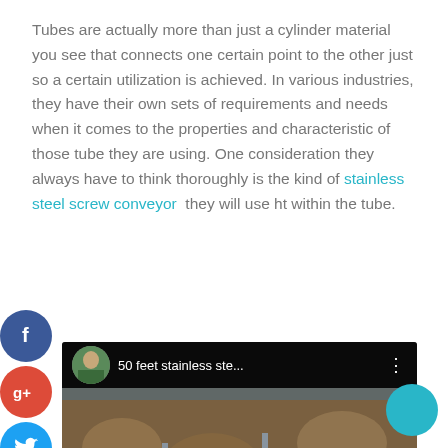Tubes are actually more than just a cylinder material you see that connects one certain point to the other just so a certain utilization is achieved. In various industries, they have their own sets of requirements and needs when it comes to the properties and characteristic of those tube they are using. One consideration they always have to think thoroughly is the kind of stainless steel screw conveyor they will use ht within the tube.
[Figure (screenshot): YouTube video thumbnail showing '50 feet stainless ste...' with a play button, depicting a stainless steel screw conveyor with grain/material visible]